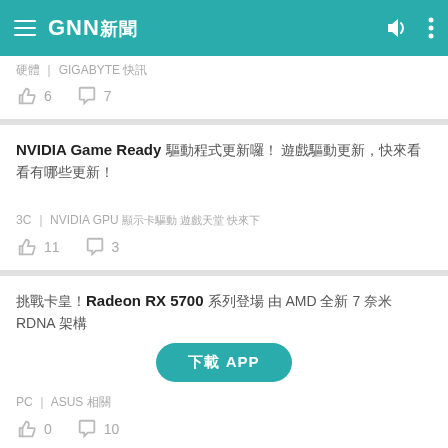GNN新聞
硬體 ｜ GIGABYTE 快訊
👍 6   💬 7
NVIDIA Game Ready 驅動程式 更新囉！ 遊戲驅動更新，快來看看有哪些更新！
3C ｜ NVIDIA GPU 顯示卡驅動更新 遊戲天堂 快來下
👍 11   💬 3
挑戰卡皇！Radeon RX 5700 系列登場 由 AMD 全新 7 奈米 RDNA 架構
下載 APP
PC ｜ ASUS 相關
👍 0   💬 10